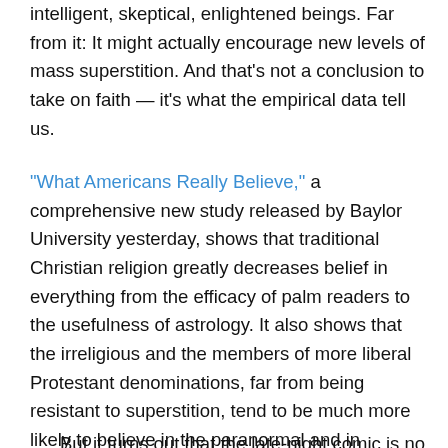intelligent, skeptical, enlightened beings. Far from it: It might actually encourage new levels of mass superstition. And that's not a conclusion to take on faith — it's what the empirical data tell us.
"What Americans Really Believe," a comprehensive new study released by Baylor University yesterday, shows that traditional Christian religion greatly decreases belief in everything from the efficacy of palm readers to the usefulness of astrology. It also shows that the irreligious and the members of more liberal Protestant denominations, far from being resistant to superstition, tend to be much more likely to believe in the paranormal and in pseudoscience than evangelical Christians…
But it turns out that the late-night comic is no icon